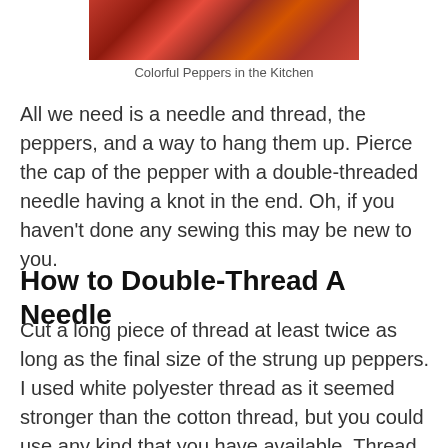[Figure (photo): Colorful red peppers hanging, photo cropped at top of page]
Colorful Peppers in the Kitchen
All we need is a needle and thread, the peppers, and a way to hang them up. Pierce the cap of the pepper with a double-threaded needle having a knot in the end. Oh, if you haven't done any sewing this may be new to you.
How to Double-Thread A Needle
Cut a long piece of thread at least twice as long as the final size of the strung up peppers. I used white polyester thread as it seemed stronger than the cotton thread, but you could use any kind that you have available. Thread the needle and pull the two ends of the string to the same length.